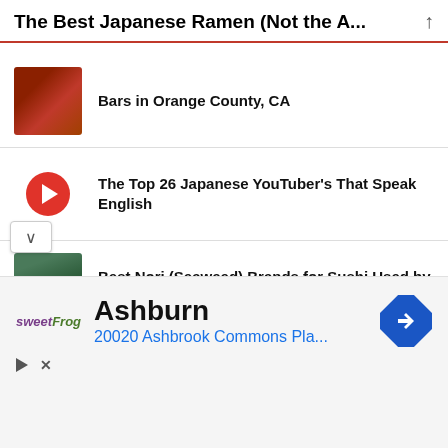The Best Japanese Ramen (Not the A...
Bars in Orange County, CA
The Top 26 Japanese YouTuber's That Speak English
Best Nori (Seaweed) Brands for Sushi Used by Japanese and Japanese Americans
Where to Buy Japanese Knives Online and Why the In-Store Experience Matters
The Best Japanese Knife Brands, Not Said So by Your Mom, an Influencer, or a Paid Shill
Ashburn
20020 Ashbrook Commons Pla...